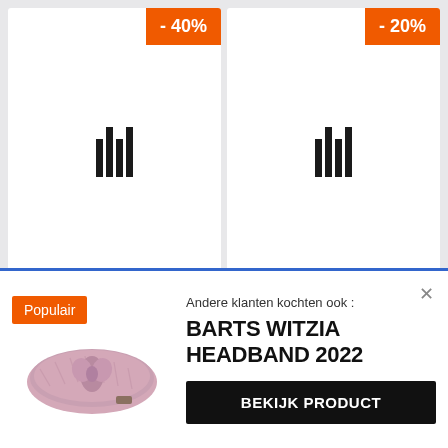[Figure (screenshot): Product card with -40% discount badge and barcode/loading icon in center]
[Figure (screenshot): Product card with -20% discount badge and barcode/loading icon in center]
Andere klanten kochten ook:
BARTS WITZIA HEADBAND 2022
[Figure (photo): Pink/mauve knitted headband with bow twist detail, Populair badge overlay]
BEKIJK PRODUCT